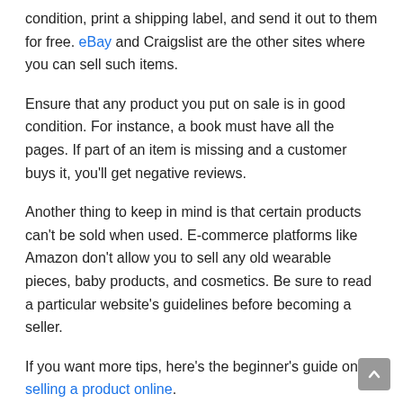condition, print a shipping label, and send it out to them for free. eBay and Craigslist are the other sites where you can sell such items.
Ensure that any product you put on sale is in good condition. For instance, a book must have all the pages. If part of an item is missing and a customer buys it, you’ll get negative reviews.
Another thing to keep in mind is that certain products can’t be sold when used. E-commerce platforms like Amazon don’t allow you to sell any old wearable pieces, baby products, and cosmetics. Be sure to read a particular website’s guidelines before becoming a seller.
If you want more tips, here’s the beginner’s guide on selling a product online.
13. Answer questions for money